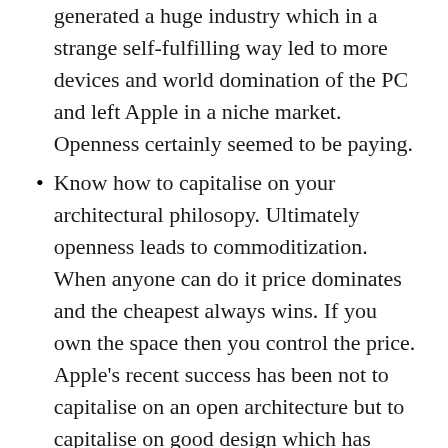generated a huge industry which in a strange self-fulfilling way led to more devices and world domination of the PC and left Apple in a niche market. Openness certainly seemed to be paying.
Know how to capitalise on your architectural philosopy. Ultimately openness leads to commoditization. When anyone can do it price dominates and the cheapest always wins. If you own the space then you control the price. Apple’s recent success has been not to capitalise on an open architecture but to capitalise on good design which has enabled it to create high value, desirable products showing that good design trounces an open architecture